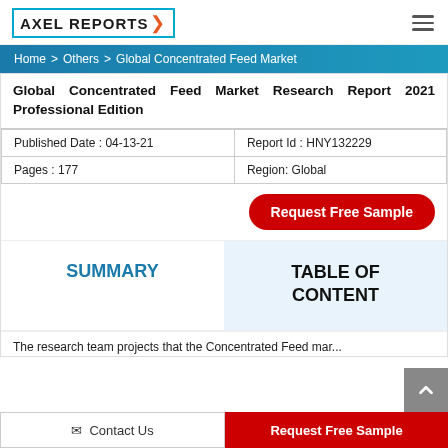AXEL REPORTS
Home > Others > Global Concentrated Feed Market
Global Concentrated Feed Market Research Report 2021 Professional Edition
| Published Date : 04-13-21 | Report Id : HNY132229 |
| --- | --- |
| Pages : 177 | Region: Global |
Request Free Sample
SUMMARY
TABLE OF CONTENT
The research team projects that the Concentrated Feed mar...
Contact Us
Request Free Sample